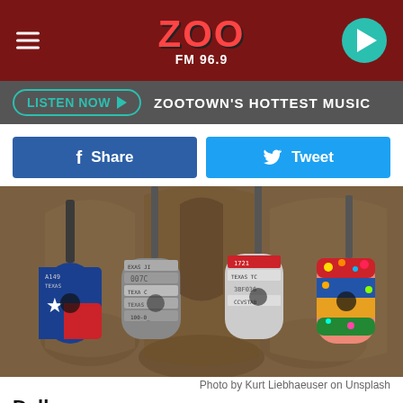ZOO FM 96.9
LISTEN NOW ▶  ZOOTOWN'S HOTTEST MUSIC
Share  Tweet
[Figure (photo): Four decorative guitars made from Texas license plates mounted on a tan wall]
Photo by Kurt Liebhaeuser on Unsplash
Dallas
If you're not a Dallas Cowboys fan, and you can get over the fact that you're going to the home of the Dallas Cowboys, I guess Dallas seems like it would be a fun place to visit! Aside from the opening dig about the Cowboys, I would